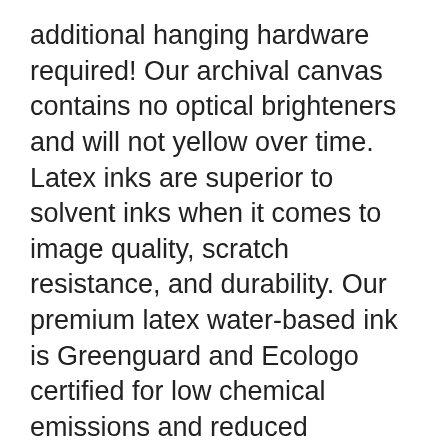additional hanging hardware required! Our archival canvas contains no optical brighteners and will not yellow over time. Latex inks are superior to solvent inks when it comes to image quality, scratch resistance, and durability. Our premium latex water-based ink is Greenguard and Ecologo certified for low chemical emissions and reduced environmental impact.
This stunning wall art will become the centerpiece of your home and the topic of conversation among all your friends the moment you put it up! We use the advanced and most excellent canvas printing technology that makes our product eye-catching and very sturdy. All our canvas prints are printed in HD with Rich and brilliant colors. This is a high definition canvas printing of modern artwork or pictures on high quality, water resistant canvas. We bring you the very best wall art on the market! Our